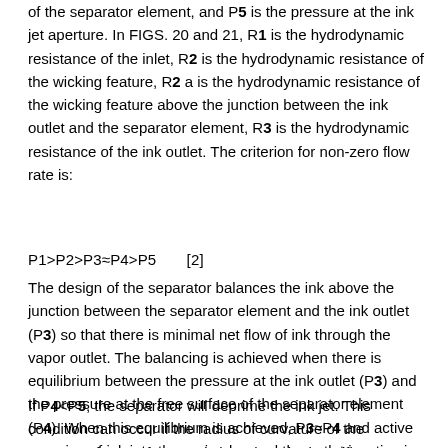of the separator element, and P5 is the pressure at the ink jet aperture. In FIGS. 20 and 21, R1 is the hydrodynamic resistance of the inlet, R2 is the hydrodynamic resistance of the wicking feature, R2 a is the hydrodynamic resistance of the wicking feature above the junction between the ink outlet and the separator element, R3 is the hydrodynamic resistance of the ink outlet. The criterion for non-zero flow rate is:
The design of the separator balances the ink above the junction between the separator element and the ink outlet (P3) so that there is minimal net flow of ink through the vapor outlet. The balancing is achieved when there is equilibrium between the pressure at the ink outlet (P3) and the pressure at the free surface of the separator element (P4). When this equilibrium is achieved, P3≈P4 and active pumping of ink into the region beyond the outlet junction is reduced.
If P4<P5, the separator will deprime the ink jet. This condition can occur if the radius of curvature of the separator free surface, Rs is less than the jet orifice